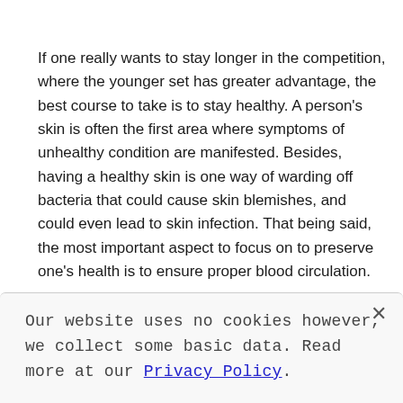If one really wants to stay longer in the competition, where the younger set has greater advantage, the best course to take is to stay healthy. A person's skin is often the first area where symptoms of unhealthy condition are manifested. Besides, having a healthy skin is one way of warding off bacteria that could cause skin blemishes, and could even lead to skin infection. That being said, the most important aspect to focus on to preserve one's health is to ensure proper blood circulation.
Our website uses no cookies however, we collect some basic data. Read more at our Privacy Policy.